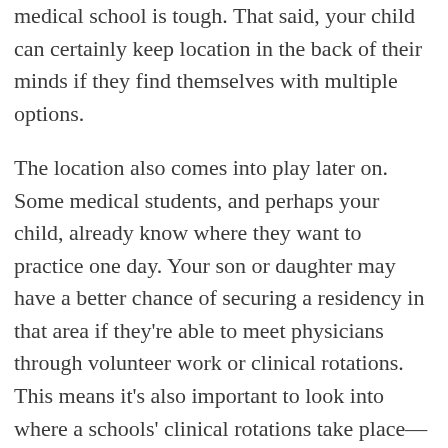medical school is tough. That said, your child can certainly keep location in the back of their minds if they find themselves with multiple options.
The location also comes into play later on. Some medical students, and perhaps your child, already know where they want to practice one day. Your son or daughter may have a better chance of securing a residency in that area if they're able to meet physicians through volunteer work or clinical rotations. This means it's also important to look into where a schools' clinical rotations take place—some programs offer a variety of options for students.
Consider that going farther away from home [Message button]